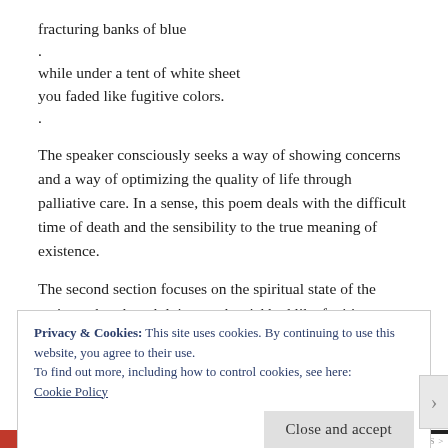fracturing banks of blue
.
while under a tent of white sheet
you faded like fugitive colors.
.
The speaker consciously seeks a way of showing concerns and a way of optimizing the quality of life through palliative care. In a sense, this poem deals with the difficult time of death and the sensibility to the true meaning of existence.
The second section focuses on the spiritual state of the patient who, though lying on the sickbed like fugitive colors
Privacy & Cookies: This site uses cookies. By continuing to use this website, you agree to their use.
To find out more, including how to control cookies, see here:
Cookie Policy
Close and accept